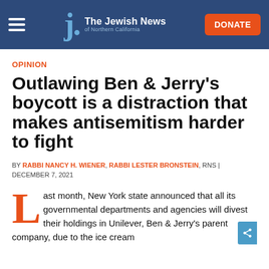The Jewish News of Northern California
OPINION
Outlawing Ben & Jerry's boycott is a distraction that makes antisemitism harder to fight
BY RABBI NANCY H. WIENER, RABBI LESTER BRONSTEIN, RNS | DECEMBER 7, 2021
Last month, New York state announced that all its governmental departments and agencies will divest their holdings in Unilever, Ben & Jerry's parent company, due to the ice cream